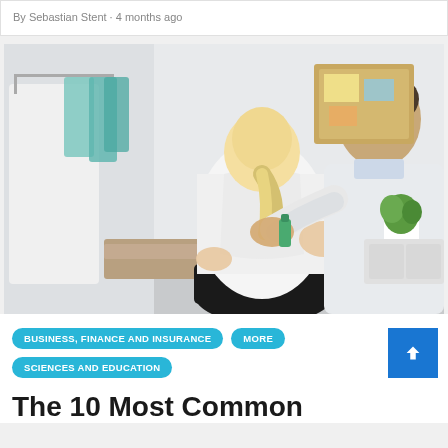By Sebastian Stent · 4 months ago
[Figure (photo): A female patient sitting on an examination table with her back to camera, wearing a white t-shirt, while a male healthcare professional in a white coat examines her back/shoulder area. Medical office setting with clothing rack visible on left.]
BUSINESS, FINANCE AND INSURANCE
MORE
SCIENCES AND EDUCATION
The 10 Most Common